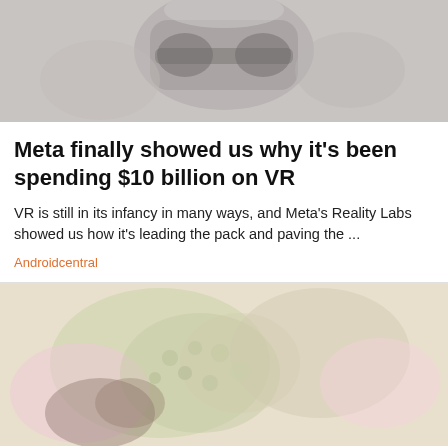[Figure (photo): Photo of a person wearing a VR headset, faded/muted tones]
Meta finally showed us why it's been spending $10 billion on VR
VR is still in its infancy in many ways, and Meta's Reality Labs showed us how it's leading the pack and paving the ...
Androidcentral
[Figure (photo): Photo of a colorful faded floral or textured object with pink and green tones]